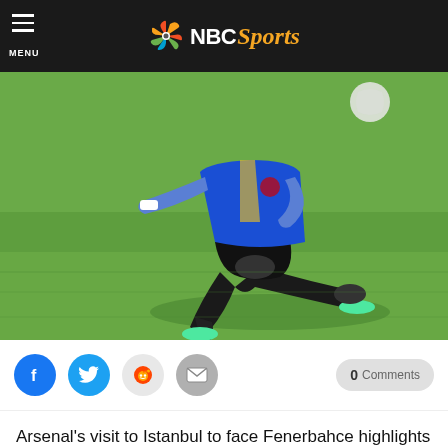NBC Sports
[Figure (photo): Arsenal soccer player in blue training jersey sliding on a grass pitch during training session, with a football visible in the background]
[Figure (infographic): Social sharing buttons row: Facebook (blue), Twitter (blue), Reddit (light gray), Email (gray), and 0 Comments button on the right]
Arsenal's visit to Istanbul to face Fenerbahce highlights the second day of UEFA Champions League play-in matches.